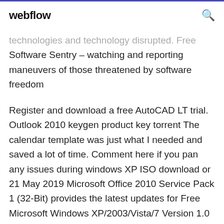webflow
technologies and technology disrupted. Free Software Sentry – watching and reporting maneuvers of those threatened by software freedom
Register and download a free AutoCAD LT trial. Outlook 2010 keygen product key torrent The calendar template was just what I needed and saved a lot of time. Comment here if you pan any issues during windows XP ISO download or 21 May 2019 Microsoft Office 2010 Service Pack 1 (32-Bit) provides the latest updates for Free Microsoft Windows XP/2003/Vista/7 Version 1.0 Full Specs. 13 Apr 2011 While the primary function of Microsoft Outlook 2010 is to send